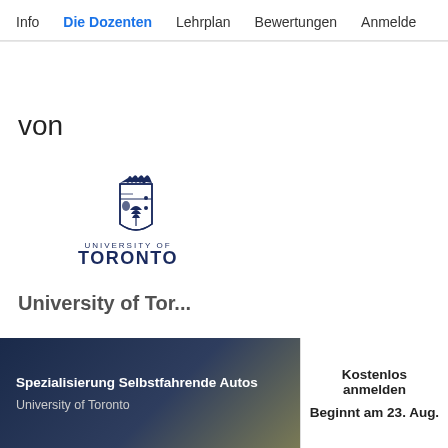Info  Die Dozenten  Lehrplan  Bewertungen  Anmelde
von
[Figure (logo): University of Toronto crest logo with shield and crown, text 'UNIVERSITY OF TORONTO' in dark navy blue]
University of Toronto (partially visible)
Spezialisierung Selbstfahrende Autos
University of Toronto
Kostenlos anmelden
Beginnt am 23. Aug.